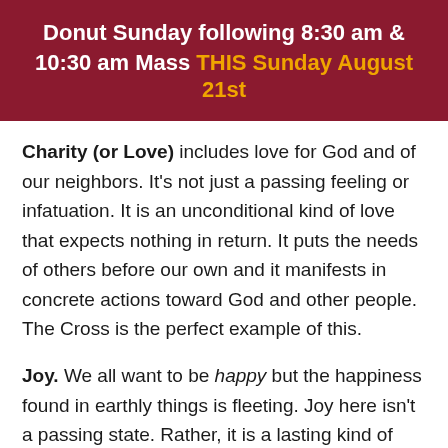Donut Sunday following 8:30 am & 10:30 am Mass THIS Sunday August 21st
Charity (or Love) includes love for God and of our neighbors. It's not just a passing feeling or infatuation. It is an unconditional kind of love that expects nothing in return. It puts the needs of others before our own and it manifests in concrete actions toward God and other people. The Cross is the perfect example of this.
Joy. We all want to be happy but the happiness found in earthly things is fleeting. Joy here isn't a passing state. Rather, it is a lasting kind of happiness that can only be realized when we put God at the